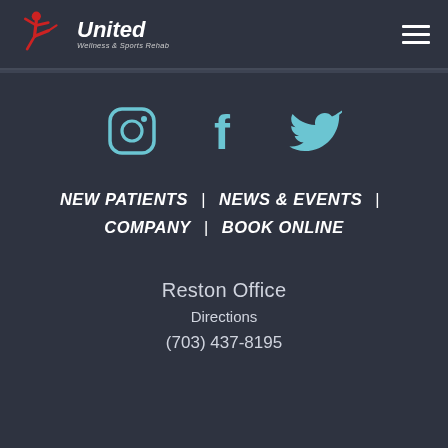[Figure (logo): United Wellness & Sports Rehab logo with red figure icon and white italic text]
[Figure (infographic): Three social media icons: Instagram (circle with camera outline), Facebook (f), Twitter (bird) in light blue/cyan color]
NEW PATIENTS | NEWS & EVENTS | COMPANY | BOOK ONLINE
Reston Office
Directions
(703) 437-8195